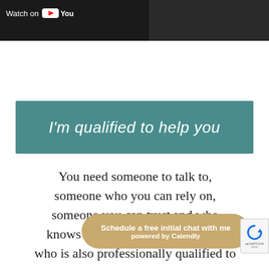[Figure (screenshot): YouTube video thumbnail/player bar — dark background with 'Watch on YouTube' text and YouTube logo at top left]
I'm qualified to help you
You need someone to talk to, someone who you can rely on, someone you can trust and who knows wha... who is also professionally qualified to
[Figure (other): Calendly scheduling button overlay: 'Schedule a free initial chat with me powered by Calendly' in gold/tan rounded button]